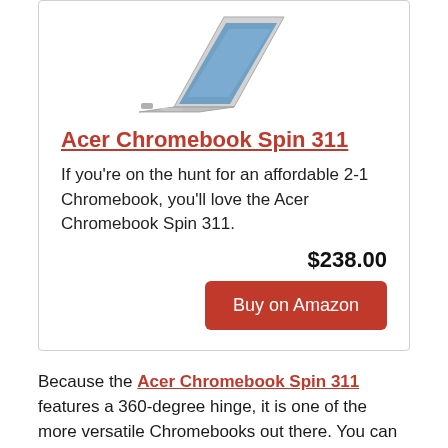[Figure (photo): Acer Chromebook Spin 311 laptop/tablet device shown in tent or display mode, viewed from above at an angle, silver/grey color]
Acer Chromebook Spin 311
If you're on the hunt for an affordable 2-1 Chromebook, you'll love the Acer Chromebook Spin 311.
$238.00
Buy on Amazon
Because the Acer Chromebook Spin 311 features a 360-degree hinge, it is one of the more versatile Chromebooks out there. You can rotate the Chromebook to any angle to create a Notebook, Tablet, stand-up Display, or Tent with minimal effort. That, combined with the fact it features a solid shell and damage-resistant Antimicrobial Corning Gorilla Glass